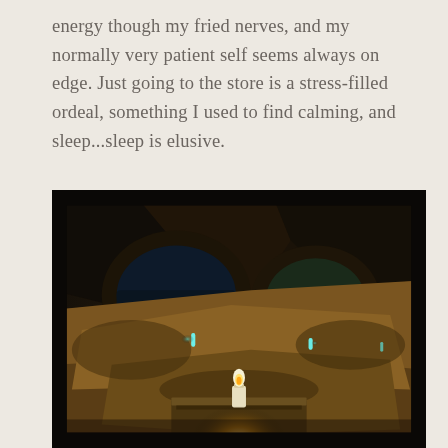energy though my fried nerves, and my normally very patient self seems always on edge. Just going to the store is a stress-filled ordeal, something I used to find calming, and sleep...sleep is elusive.
[Figure (photo): Dark cave interior with large rough stone slabs and niches lit by small teal/green lights and a single white candle glowing in the foreground on a stone altar, creating a mystical underground atmosphere.]